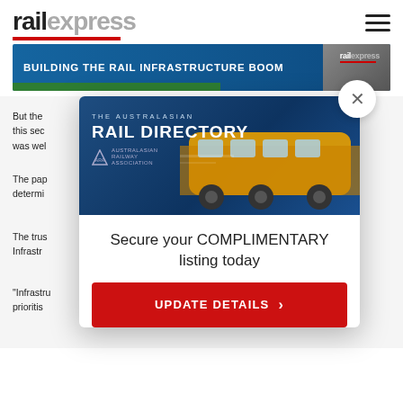[Figure (logo): Rail Express logo with 'rail' in black bold and 'express' in grey bold, red underline]
[Figure (screenshot): Banner advertisement: 'BUILDING THE RAIL INFRASTRUCTURE BOOM' with Rail Express logo and railway track image on blue background]
But the [obscured by modal] this sec[obscured] was wel[obscured]
The pap[obscured] determi[obscured]
The trus[obscured] Infrastr[obscured]
"Infrastru[obscured] prioritis[obscured]
[Figure (screenshot): Modal popup showing The Australasian Rail Directory advertisement with a yellow train image, text 'Secure your COMPLIMENTARY listing today' and a red UPDATE DETAILS button]